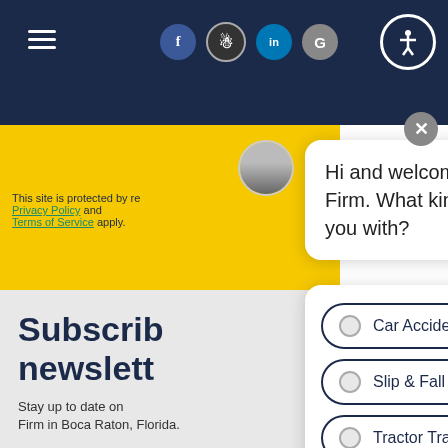[Figure (screenshot): Navigation bar with hamburger menu, social media icons (Facebook, Instagram, LinkedIn, Google), and accessibility icon on dark navy background]
This site is protected by re
Privacy Policy and
Terms of Service apply.
Hi and welcome to The Datny Law Firm. What kind of case can I help you with?
Car Accident
Slip & Fall
Tractor Trailer Accident
Animal Bite
Subscribe newsletter
Stay up to date on Firm in Boca Raton, Florida.